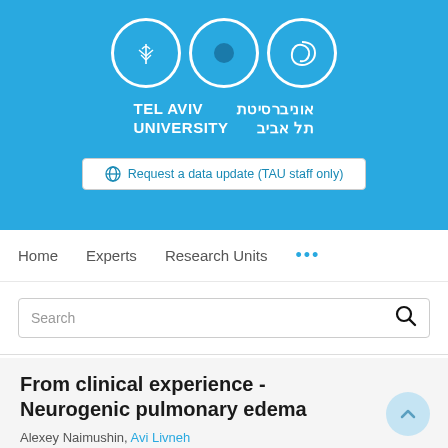[Figure (logo): Tel Aviv University logo with three circular emblems and bilingual text in English and Hebrew on a blue background]
Request a data update (TAU staff only)
Home   Experts   Research Units   ...
Search
From clinical experience - Neurogenic pulmonary edema
Alexey Naimushin, Avi Livneh